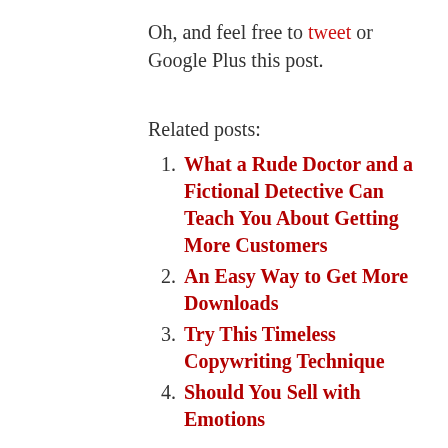Oh, and feel free to tweet or Google Plus this post.
Related posts:
What a Rude Doctor and a Fictional Detective Can Teach You About Getting More Customers
An Easy Way to Get More Downloads
Try This Timeless Copywriting Technique
Should You Sell with Emotions